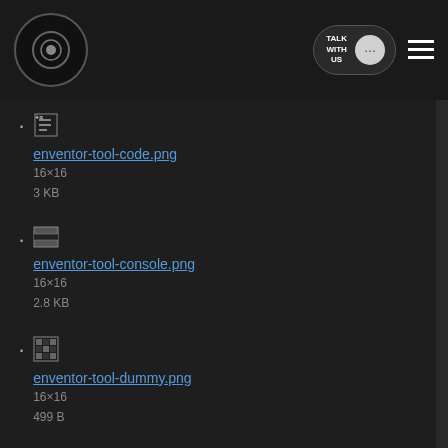TALK WITH US [chat icon] [hamburger menu]
enventor-tool-code.png
16×16
3 KB
enventor-tool-console.png
16×16
2.8 KB
enventor-tool-dummy.png
16×16
499 B
enventor-tool-find.png
16×16
377 B